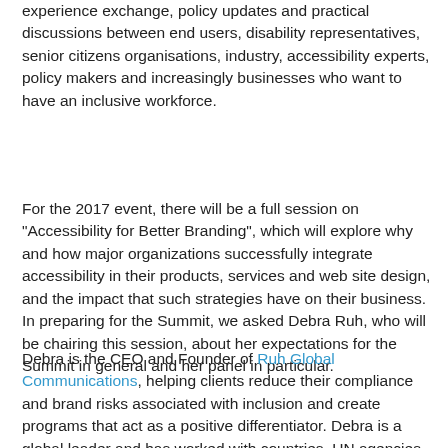experience exchange, policy updates and practical discussions between end users, disability representatives, senior citizens organisations, industry, accessibility experts, policy makers and increasingly businesses who want to have an inclusive workforce.
For the 2017 event, there will be a full session on "Accessibility for Better Branding", which will explore why and how major organizations successfully integrate accessibility in their products, services and web site design, and the impact that such strategies have on their business. In preparing for the Summit, we asked Debra Ruh, who will be chairing this session, about her expectations for the Summit in general and her panel in particular.
Debra is the CEO and Founder of Ruh Global Communications, helping clients reduce their compliance and brand risks associated with inclusion and create programs that act as a positive differentiator. Debra is a global leader and has worked with countries, UN agencies, national and multi-national firms all over the world helping then create programs, strategies and processes that fully include persons with disabilities. Most often, frustration...